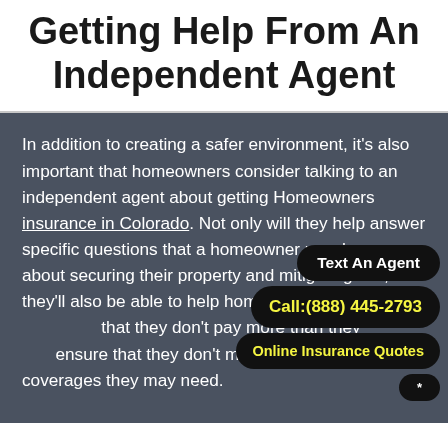Getting Help From An Independent Agent
In addition to creating a safer environment, it's also important that homeowners consider talking to an independent agent about getting Homeowners insurance in Colorado. Not only will they help answer specific questions that a homeowner may have about securing their property and mitigating risk, but they'll also be able to help homeowners compare quotes so that they don't pay more than they have to and ensure that they don't miss out on crucial coverages they may need.